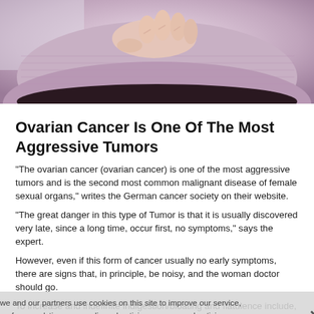[Figure (photo): A person wearing a light purple/lavender ribbed top, holding their abdomen area with both hands, suggesting abdominal pain or discomfort. Image is cropped at torso level.]
Ovarian Cancer Is One Of The Most Aggressive Tumors
“The ovarian cancer (ovarian cancer) is one of the most aggressive tumors and is the second most common malignant disease of female sexual organs,” writes the German cancer society on their website.
“The great danger in this type of Tumor is that it is usually discovered very late, since a long time, occur first, no symptoms,” says the expert.
However, even if this form of cancer usually no early symptoms, there are signs that, in principle, be noisy, and the woman doctor should go.
To increase and indefinite indigestion/bloating and flatulence include, according to the experts, among other things, an increase in waist circumference without weight.
We and our partners use cookies on this site to improve our service, perform analytics, personalize advertising, measure advertising performance and remember website preferences.